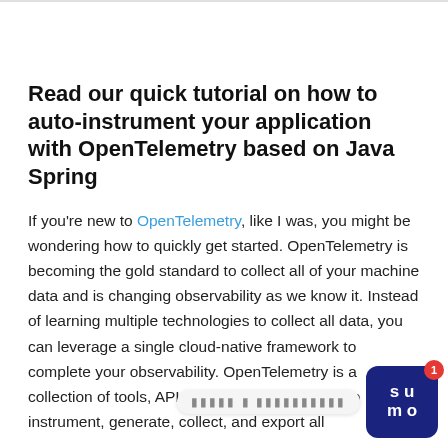Read our quick tutorial on how to auto-instrument your application with OpenTelemetry based on Java Spring
If you're new to OpenTelemetry, like I was, you might be wondering how to quickly get started. OpenTelemetry is becoming the gold standard to collect all of your machine data and is changing observability as we know it. Instead of learning multiple technologies to collect all data, you can leverage a single cloud-native framework to complete your observability. OpenTelemetry is a collection of tools, APIs, &d... a to instrument, generate, collect, and export all